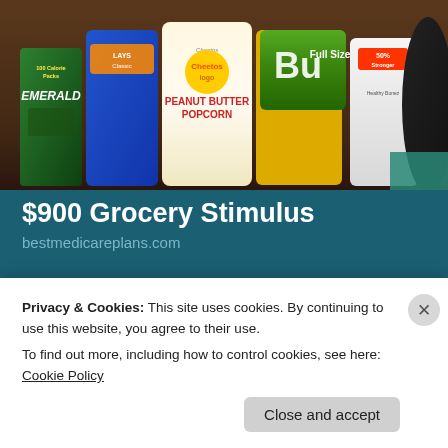[Figure (photo): Photo of various snack food packages arranged on a dark wooden surface, including Emerald 100 Calorie Packs (green box), a blue chip bag, Cheetos Peanut Butter Popcorn (white/yellow bag), a yellow-green bag, a white bag labeled 50% Stronger, and a dark round cookie object]
$900 Grocery Stimulus
bestmedicareplans.com
Share this:
Twitter
Facebook
Privacy & Cookies: This site uses cookies. By continuing to use this website, you agree to their use.
To find out more, including how to control cookies, see here: Cookie Policy
Close and accept